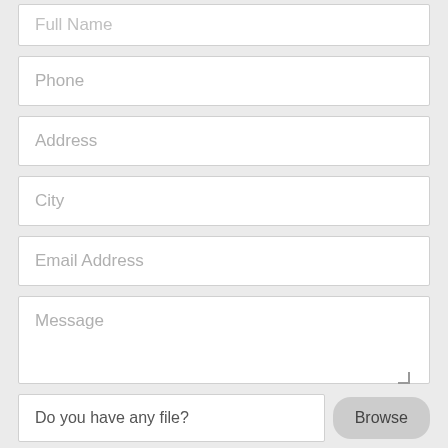[Figure (screenshot): Web contact form with input fields for Full Name (partially visible at top), Phone, Address, City, Email Address, Message textarea, a file upload row with Browse button, and a reCAPTCHA checkbox widget.]
Full Name
Phone
Address
City
Email Address
Message
Do you have any file?
Browse
I'm not a robot
reCAPTCHA
Privacy · Terms